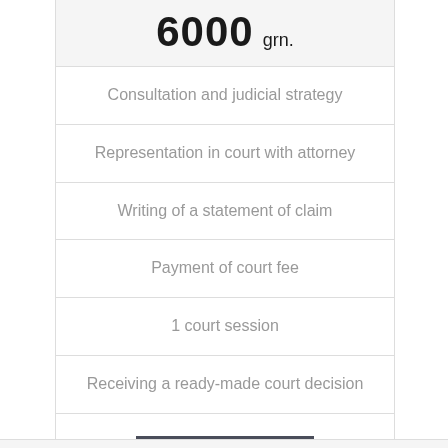6000 grn.
Consultation and judicial strategy
Representation in court with attorney
Writing of a statement of claim
Payment of court fee
1 court session
Receiving a ready-made court decision
Order